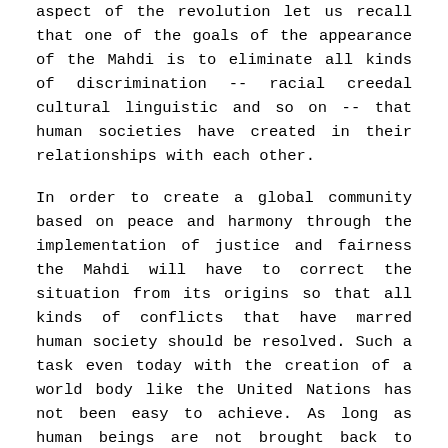aspect of the revolution let us recall that one of the goals of the appearance of the Mahdi is to eliminate all kinds of discrimination -- racial creedal cultural linguistic and so on -- that human societies have created in their relationships with each other.
In order to create a global community based on peace and harmony through the implementation of justice and fairness the Mahdi will have to correct the situation from its origins so that all kinds of conflicts that have marred human society should be resolved. Such a task even today with the creation of a world body like the United Nations has not been easy to achieve. As long as human beings are not brought back to their spiritual origins and as long as materialism and extreme forms of selfish behavior in the name of individualism are not corrected it is impossible to imagine how a God-centered human society can materialize. The God-centered human society can be erected on the divinely ordained laws and the divine blue print provided by the Islamic faith
The Mahdi's revolution aspires to provide a religious focus to the